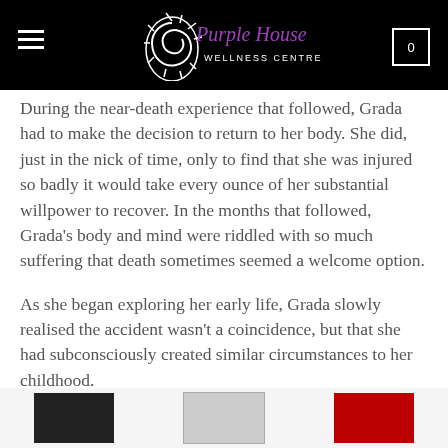Purple House Wellness Centre
During the near-death experience that followed, Grada had to make the decision to return to her body. She did, just in the nick of time, only to find that she was injured so badly it would take every ounce of her substantial willpower to recover. In the months that followed, Grada's body and mind were riddled with so much suffering that death sometimes seemed a welcome option.
As she began exploring her early life, Grada slowly realised the accident wasn't a coincidence, but that she had subconsciously created similar circumstances to her childhood.
From working with clients, Grada knew that physical,